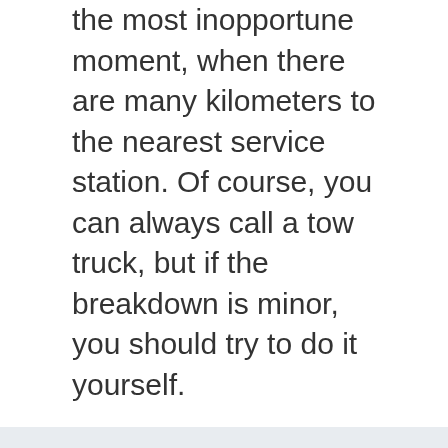the most inopportune moment, when there are many kilometers to the nearest service station. Of course, you can always call a tow truck, but if the breakdown is minor, you should try to do it yourself.
About us
Contact
Privacy Policy & Cookies
ATTENTION TO RIGHT HOLDERS! All materials are posted on the site strictly for informational and educational purposes! If you believe that the posting of any material infringes your copyright, be sure to contact